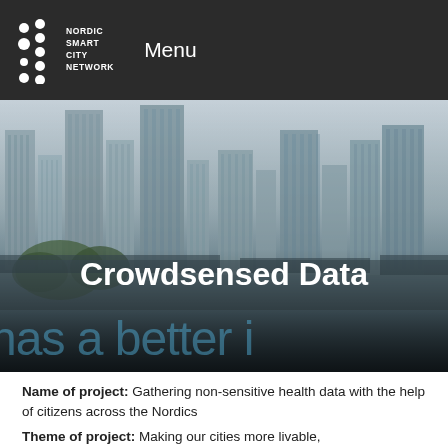NORDIC SMART CITY NETWORK — Menu
[Figure (photo): Aerial/street view of a city skyline with tall buildings and trees in the background; dark overlay with 'Crowdsensed Data' title and 'has a better i...' subtitle text in blue]
Name of project: Gathering non-sensitive health data with the help of citizens across the Nordics
Theme of project: Making our cities more livable,